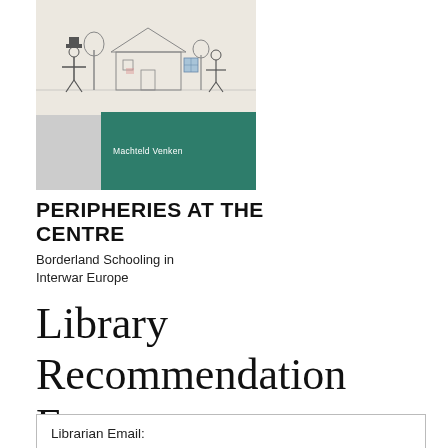[Figure (illustration): Book cover of 'Peripheries at the Centre: Borderland Schooling in Interwar Europe' by Machteld Venken. The top half shows a pencil sketch of a rural scene with figures and a house. The bottom right area has a dark green rectangle with the author's name in white text.]
PERIPHERIES AT THE CENTRE
Borderland Schooling in Interwar Europe
Library Recommendation Form
Librarian Email: